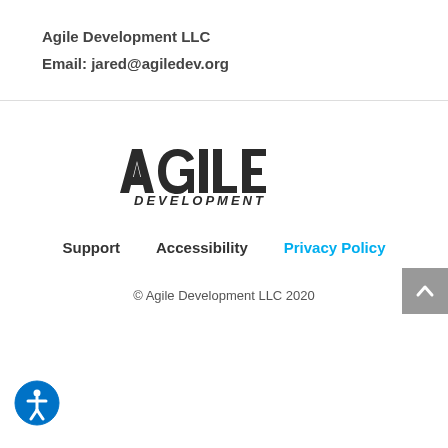Agile Development LLC
Email: jared@agiledev.org
[Figure (logo): Agile Development logo — stylized bold italic text reading AGILE on top line and DEVELOPMENT below, in dark gray/black]
Support   Accessibility   Privacy Policy
© Agile Development LLC 2020